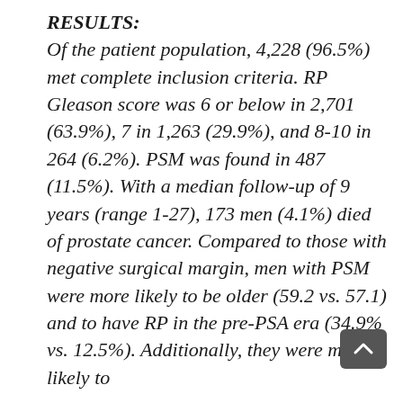RESULTS: Of the patient population, 4,228 (96.5%) met complete inclusion criteria. RP Gleason score was 6 or below in 2,701 (63.9%), 7 in 1,263 (29.9%), and 8-10 in 264 (6.2%). PSM was found in 487 (11.5%). With a median follow-up of 9 years (range 1-27), 173 men (4.1%) died of prostate cancer. Compared to those with negative surgical margin, men with PSM were more likely to be older (59.2 vs. 57.1) and to have RP in the pre-PSA era (34.9% vs. 12.5%). Additionally, they were more likely to...